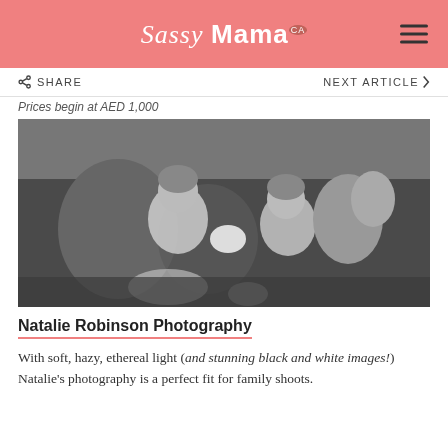Sassy Mama
SHARE   NEXT ARTICLE
Prices begin at AED 1,000
[Figure (photo): Black and white photo of two young girls sitting on a couch, one holding a newborn baby, the other kissing the baby, with stuffed animal toys beside them.]
Natalie Robinson Photography
With soft, hazy, ethereal light (and stunning black and white images!) Natalie’s photography is a perfect fit for family shoots.